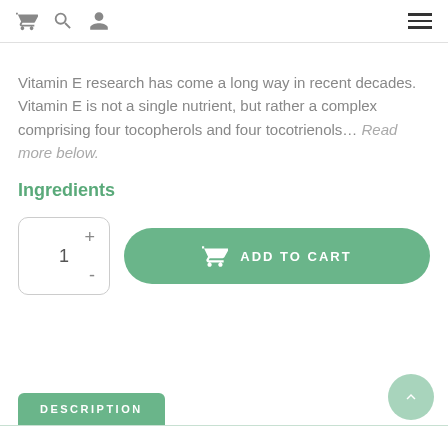Navigation header with cart, search, user icons and hamburger menu
Vitamin E research has come a long way in recent decades. Vitamin E is not a single nutrient, but rather a complex comprising four tocopherols and four tocotrienols... Read more below.
Ingredients
[Figure (other): Quantity selector box showing 1 with + and - controls, and an Add to Cart button in green with basket icon]
DESCRIPTION